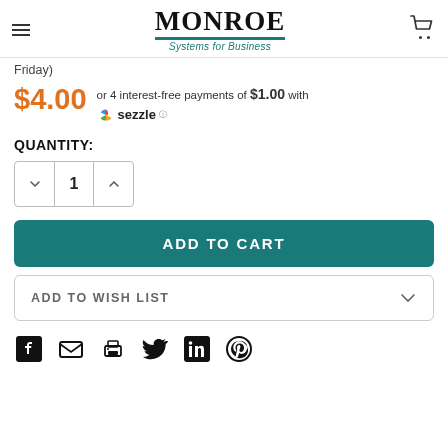Monroe Systems for Business
Friday)
$4.00 or 4 interest-free payments of $1.00 with sezzle
QUANTITY:
1
ADD TO CART
ADD TO WISH LIST
[Figure (other): Social sharing icons: Facebook, Email, Print, Twitter, LinkedIn, Pinterest]